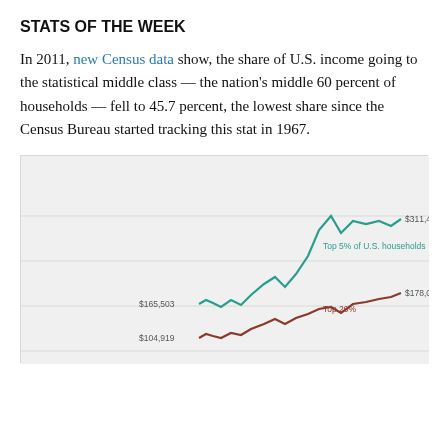STATS OF THE WEEK
In 2011, new Census data show, the share of U.S. income going to the statistical middle class — the nation's middle 60 percent of households — fell to 45.7 percent, the lowest share since the Census Bureau started tracking this stat in 1967.
[Figure (line-chart): The latest Census income figures, released last week, show no let-up in income inequality.]